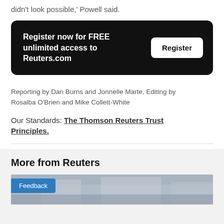didn't look possible,' Powell said.
Register now for FREE unlimited access to Reuters.com
Reporting by Dan Burns and Jonnelle Marte, Editing by Rosalba O'Brien and Mike Collett-White
Our Standards: The Thomson Reuters Trust Principles.
More from Reuters
[Figure (photo): A street-level photograph of a Reuters building exterior, partially obscured.]